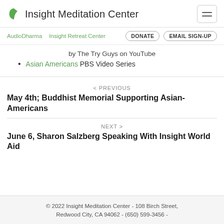Insight Meditation Center
AudioDharma   Insight Retreat Center   DONATE   EMAIL SIGN-UP
by The Try Guys on YouTube
Asian Americans PBS Video Series
< PREVIOUS
May 4th; Buddhist Memorial Supporting Asian-Americans
NEXT >
June 6, Sharon Salzberg Speaking With Insight World Aid
© 2022 Insight Meditation Center - 108 Birch Street, Redwood City, CA 94062 - (650) 599-3456 -